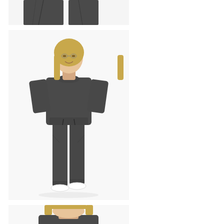[Figure (photo): Close-up of dark grey sweatpants/joggers on a model, cropped view showing waist and legs against white background]
[Figure (photo): Full-body photo of a blonde woman wearing a dark grey/charcoal sweatshirt and matching jogger pants with drawstring waist and white sneakers, standing against a white background]
[Figure (photo): Partial photo of a blonde woman wearing dark grey outfit, cropped at top of frame showing head/shoulders]